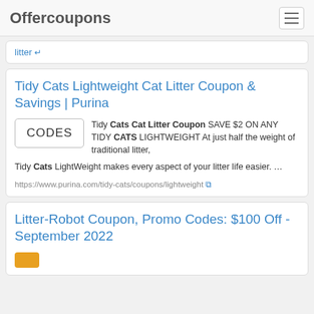Offercoupons
litter
Tidy Cats Lightweight Cat Litter Coupon & Savings | Purina
CODES  Tidy Cats Cat Litter Coupon SAVE $2 ON ANY TIDY CATS LIGHTWEIGHT At just half the weight of traditional litter, Tidy Cats LightWeight makes every aspect of your litter life easier. ...
https://www.purina.com/tidy-cats/coupons/lightweight
Litter-Robot Coupon, Promo Codes: $100 Off - September 2022